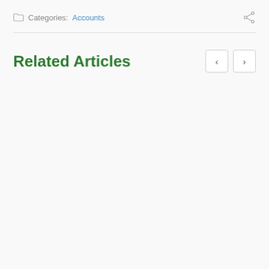Categories: Accounts
Related Articles